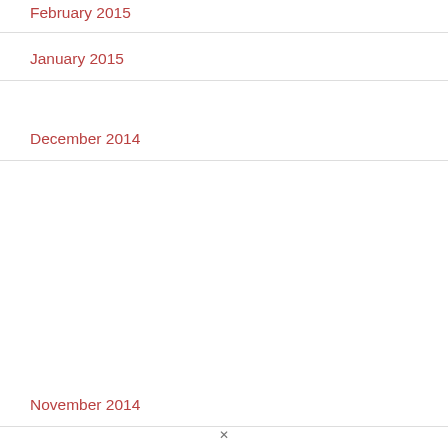February 2015
January 2015
December 2014
November 2014